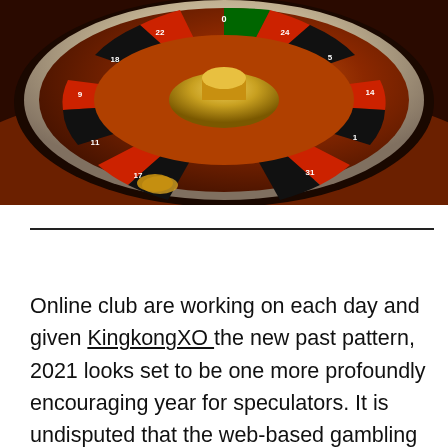[Figure (photo): Close-up photograph of a red and black roulette wheel with gold accents, showing numbers on the wheel segments]
Online club are working on each day and given KingkongXO  the new past pattern, 2021 looks set to be one more profoundly encouraging year for speculators. It is undisputed that the web-based gambling club market is developing at a remarkable rate. In 2021, it is normal to hit roughly $1 trillion before the year's over. This is a declaration to the thriving of the business. The